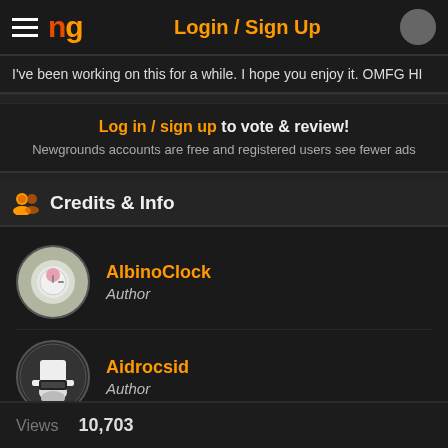Login / Sign Up
I've been working on this for a while. I hope you enjoy it. OMFG HI
Log in / sign up to vote & review! Newgrounds accounts are free and registered users see fewer ads
Credits & Info
AlbinoClock
Author
Aidrocsid
Author
Views 10,703